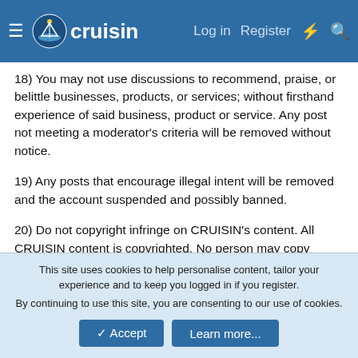cruisin — Log in | Register
18) You may not use discussions to recommend, praise, or belittle businesses, products, or services; without firsthand experience of said business, product or service. Any post not meeting a moderator's criteria will be removed without notice.
19) Any posts that encourage illegal intent will be removed and the account suspended and possibly banned.
20) Do not copyright infringe on CRUISIN's content. All CRUISIN content is copyrighted. No person may copy CRUISIN content, whether whole or in part, directly from the CRUISIN website and repost or reprint it without prior written permission from CRUISIN. If written permission is obtained you are still required to cite CRUISIN as the source of the information. In cases of reposting the information on the internet, you are required to place a hyperlink back to the original CRUISIN
This site uses cookies to help personalise content, tailor your experience and to keep you logged in if you register.
By continuing to use this site, you are consenting to our use of cookies.